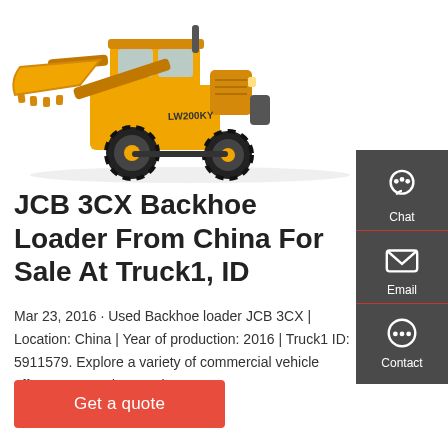[Figure (photo): Yellow and black JCB 3CX Backhoe Loader / wheel loader machine photographed from the side, with a large front bucket raised, on white background]
JCB 3CX Backhoe Loader From China For Sale At Truck1, ID
Mar 23, 2016 · Used Backhoe loader JCB 3CX | Location: China | Year of production: 2016 | Truck1 ID: 5911579. Explore a variety of commercial vehicle offers presented at Truck1.
Get a quote